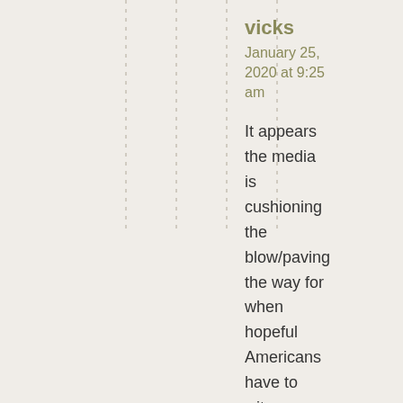vicks
January 25, 2020 at 9:25 am
It appears the media is cushioning the blow/paving the way for when hopeful Americans have to witness “the four